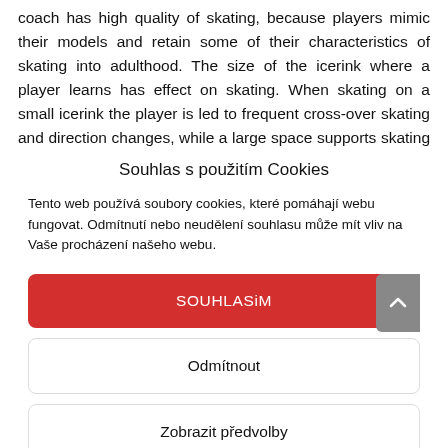coach has high quality of skating, because players mimic their models and retain some of their characteristics of skating into adulthood. The size of the icerink where a player learns has effect on skating. When skating on a small icerink the player is led to frequent cross-over skating and direction changes, while a large space supports skating in a slide.
Souhlas s použitím Cookies
Tento web používá soubory cookies, které pomáhají webu fungovat. Odmítnutí nebo neudělení souhlasu může mít vliv na Vaše procházení našeho webu.
SOUHLASiM
Odmítnout
Zobrazit předvolby